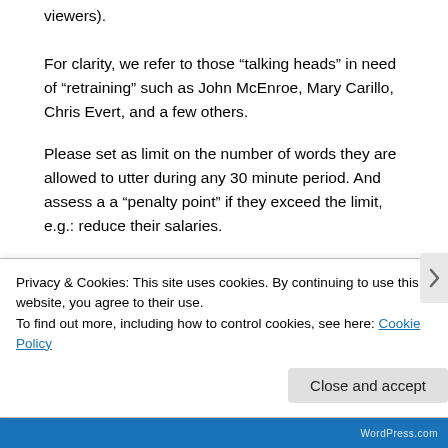viewers).
For clarity, we refer to those “talking heads” in need of “retraining” such as John McEnroe, Mary Carillo, Chris Evert, and a few others.
Please set as limit on the number of words they are allowed to utter during any 30 minute period. And assess a a “penalty point” if they exceed the limit, e.g.: reduce their salaries.
★ Like
[Figure (other): User avatar icon (bird/logo in blue)]
Privacy & Cookies: This site uses cookies. By continuing to use this website, you agree to their use.
To find out more, including how to control cookies, see here: Cookie Policy
Close and accept